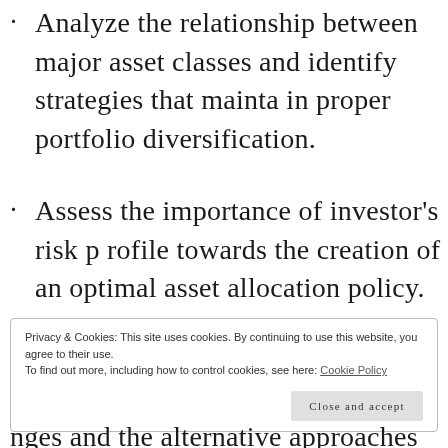Analyze the relationship between major asset classes and identify strategies that maintain proper portfolio diversification.
Assess the importance of investor's risk profile towards the creation of an optimal asset allocation policy.
Privacy & Cookies: This site uses cookies. By continuing to use this website, you agree to their use.
To find out more, including how to control cookies, see here: Cookie Policy
Close and accept
nges and the alternative approaches employed